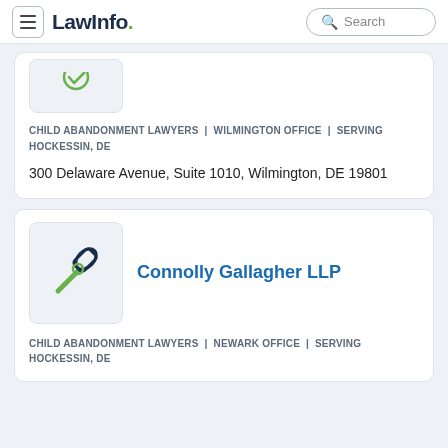LawInfo. | Search
[Figure (logo): Partial law firm logo box, top card (cropped)]
CHILD ABANDONMENT LAWYERS  |  WILMINGTON OFFICE  |  SERVING HOCKESSIN, DE
300 Delaware Avenue, Suite 1010, Wilmington, DE 19801
[Figure (logo): Law firm gavel icon for Connolly Gallagher LLP]
Connolly Gallagher LLP
CHILD ABANDONMENT LAWYERS  |  NEWARK OFFICE  |  SERVING HOCKESSIN, DE